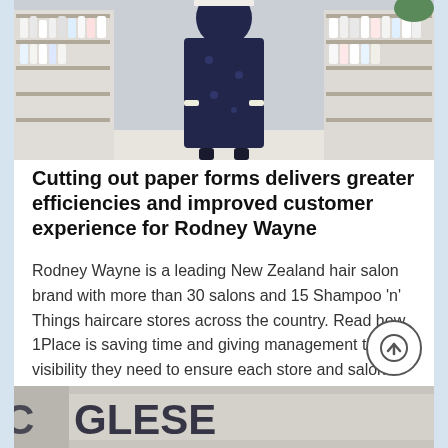[Figure (photo): Person in a dark patterned outfit standing in a hair salon/beauty store with shelves of hair care products visible on both sides]
Cutting out paper forms delivers greater efficiencies and improved customer experience for Rodney Wayne
Rodney Wayne is a leading New Zealand hair salon brand with more than 30 salons and 15 Shampoo 'n' Things haircare stores across the country. Read how 1Place is saving time and giving management the visibility they need to ensure each store and salon delivers an exceptional customer experience.
[Figure (photo): Partial view of a bottom photo showing branded merchandise or storefront, partially cropped]